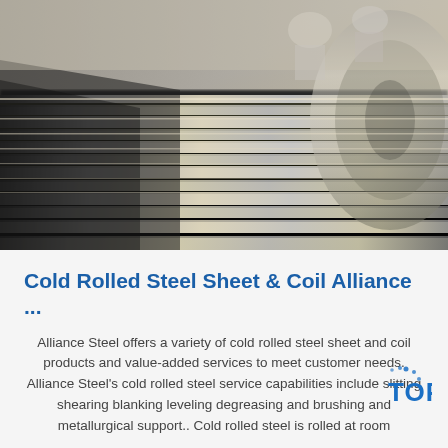[Figure (photo): Close-up photo of a large shiny steel coil being rolled in an industrial setting, with motion blur visible on the steel surface. Workers in the background.]
Cold Rolled Steel Sheet & Coil Alliance ...
Alliance Steel offers a variety of cold rolled steel sheet and coil products and value-added services to meet customer needs. Alliance Steel's cold rolled steel service capabilities include slitting shearing blanking leveling degreasing and brushing and metallurgical support.. Cold rolled steel is rolled at room